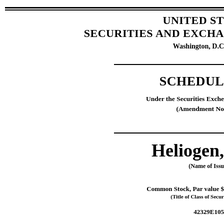UNITED STATES SECURITIES AND EXCHANGE COMMISSION
Washington, D.C.
SCHEDULE
Under the Securities Exchange
(Amendment No.
Heliogen,
(Name of Issuer)
Common Stock, Par value $
(Title of Class of Securities)
42329E105